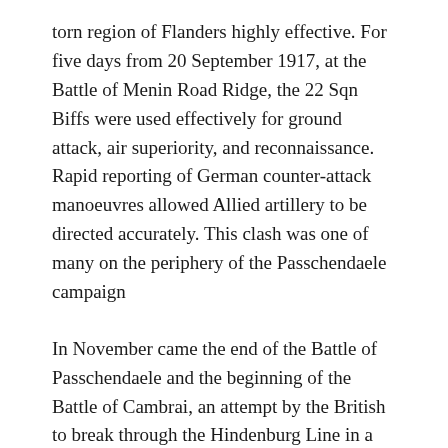torn region of Flanders highly effective. For five days from 20 September 1917, at the Battle of Menin Road Ridge, the 22 Sqn Biffs were used effectively for ground attack, air superiority, and reconnaissance. Rapid reporting of German counter-attack manoeuvres allowed Allied artillery to be directed accurately. This clash was one of many on the periphery of the Passchendaele campaign
In November came the end of the Battle of Passchendaele and the beginning of the Battle of Cambrai, an attempt by the British to break through the Hindenburg Line in a massive attack combining artillery, tanks, infantry and air power.